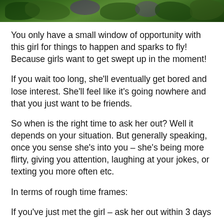[Figure (photo): Top strip showing foliage/garden scene with purple flowers or shrubs visible in the center against green bushes]
You only have a small window of opportunity with this girl for things to happen and sparks to fly! Because girls want to get swept up in the moment!
If you wait too long, she'll eventually get bored and lose interest. She'll feel like it's going nowhere and that you just want to be friends.
So when is the right time to ask her out? Well it depends on your situation. But generally speaking, once you sense she's into you – she's being more flirty, giving you attention, laughing at your jokes, or texting you more often etc.
In terms of rough time frames:
If you've just met the girl – ask her out within 3 days